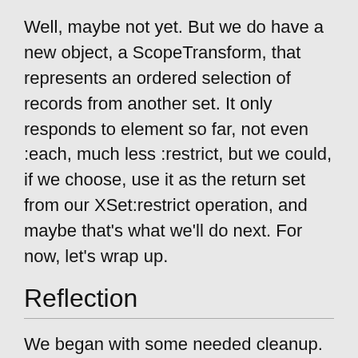Well, maybe not yet. But we do have a new object, a ScopeTransform, that represents an ordered selection of records from another set. It only responds to element so far, not even :each, much less :restrict, but we could, if we choose, use it as the return set from our XSet:restrict operation, and maybe that's what we'll do next. For now, let's wrap up.
Reflection
We began with some needed cleanup. We noticed that there was an asymmetry in the code, where the same thing (getting an element to compare) was done at two